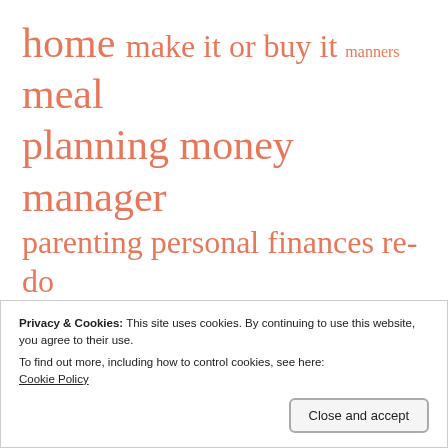home make it or buy it manners meal planning money manager parenting personal finances re-do it re-use it readers' questions reduce reuse recycle repair scratch kitchen sewing style time manager treats used clothing
Privacy & Cookies: This site uses cookies. By continuing to use this website, you agree to their use.
To find out more, including how to control cookies, see here:
Cookie Policy
Close and accept